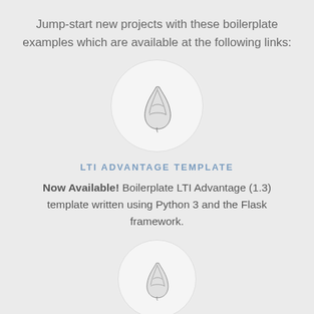Jump-start new projects with these boilerplate examples which are available at the following links:
[Figure (illustration): A circular badge with a Flask/feather icon representing the LTI Advantage Template]
LTI ADVANTAGE TEMPLATE
Now Available! Boilerplate LTI Advantage (1.3) template written using Python 3 and the Flask framework.
[Figure (illustration): A circular badge with a Flask/feather icon, smaller version]